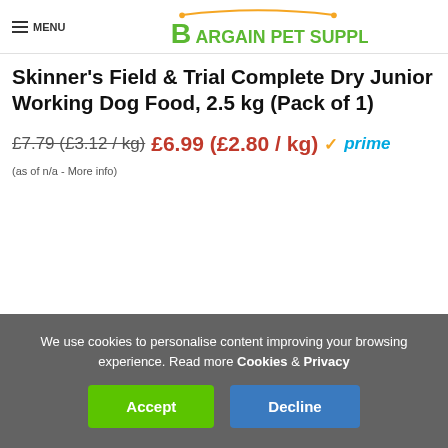MENU | Bargain Pet Supplies
Skinner's Field & Trial Complete Dry Junior Working Dog Food, 2.5 kg (Pack of 1)
£7.79 (£3.12 / kg) £6.99 (£2.80 / kg) ✓prime
(as of n/a - More info)
We use cookies to personalise content improving your browsing experience. Read more Cookies & Privacy
Accept | Decline